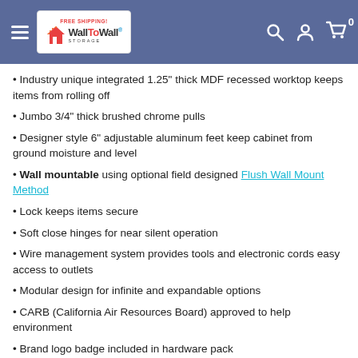WallToWall Storage — FREE SHIPPING!
Industry unique integrated 1.25" thick MDF recessed worktop keeps items from rolling off
Jumbo 3/4" thick brushed chrome pulls
Designer style 6" adjustable aluminum feet keep cabinet from ground moisture and level
Wall mountable using optional field designed Flush Wall Mount Method
Lock keeps items secure
Soft close hinges for near silent operation
Wire management system provides tools and electronic cords easy access to outlets
Modular design for infinite and expandable options
CARB (California Air Resources Board) approved to help environment
Brand logo badge included in hardware pack